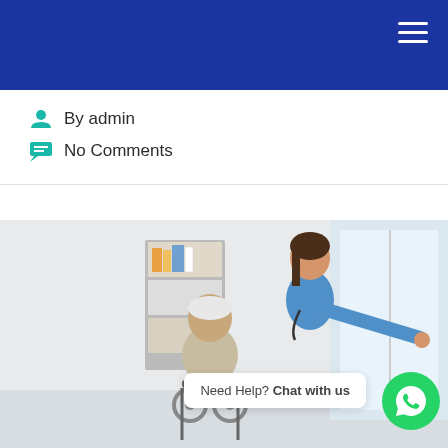By admin
No Comments
[Figure (photo): A female nurse in blue scrubs leans over and points toward a window while an elderly man in a wheelchair looks in that direction. A bookshelf is visible in the background of a bright medical room.]
Need Help? Chat with us